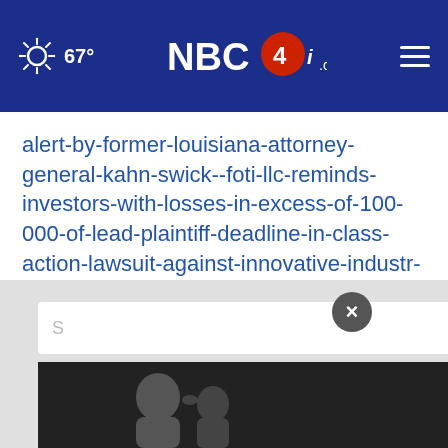NBC4i.com — 67°
alert-by-former-louisiana-attorney-general-kahn-swick--foti-llc-reminds-investors-with-losses-in-excess-of-100-000-of-lead-plaintiff-deadline-in-class-action-lawsuit-against-innovative-industr-301556788.html
SOURCE Kahn Swick & Foti, LLC
[Figure (screenshot): Advertisement banner at the bottom with a black and white photo of a father and child, blue bar with cyan text 'Never stop being a dad.' A close button (×) and a search input area are visible.]